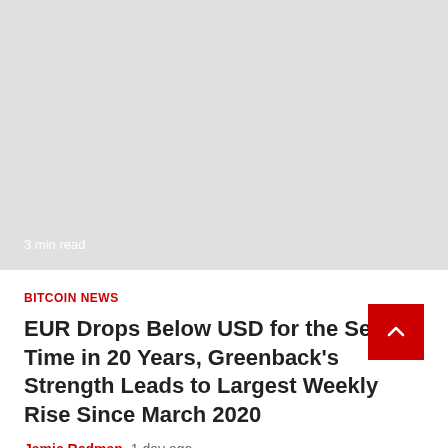[Figure (photo): Gray placeholder image with '3 min read' label at bottom left]
3 min read
BITCOIN NEWS
EUR Drops Below USD for the Second Time in 20 Years, Greenback's Strength Leads to Largest Weekly Rise Since March 2020
Jamie Redman  1 day ago